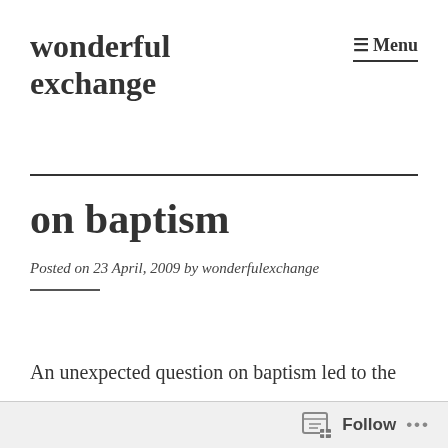wonderful exchange
☰ Menu
on baptism
Posted on 23 April, 2009 by wonderfulexchange
An unexpected question on baptism led to the
Follow ...